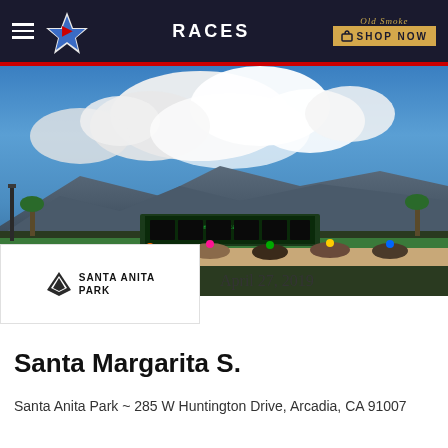RACES
[Figure (photo): Horse race at Santa Anita Park with mountain backdrop and dramatic cloudy sky]
Santa Anita Park
April 27, 2019
Santa Margarita S.
Santa Anita Park ~ 285 W Huntington Drive, Arcadia, CA 91007